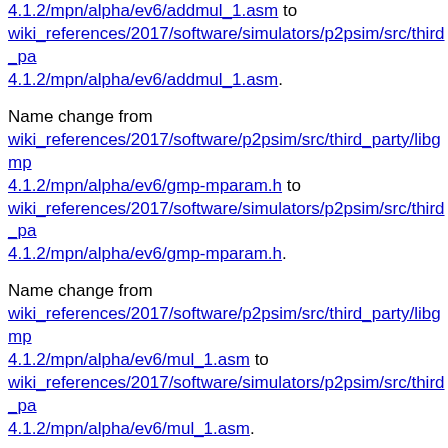4.1.2/mpn/alpha/ev6/addmul_1.asm to wiki_references/2017/software/simulators/p2psim/src/third_party/libgmp/4.1.2/mpn/alpha/ev6/addmul_1.asm.
Name change from wiki_references/2017/software/p2psim/src/third_party/libgmp/4.1.2/mpn/alpha/ev6/gmp-mparam.h to wiki_references/2017/software/simulators/p2psim/src/third_party/libgmp/4.1.2/mpn/alpha/ev6/gmp-mparam.h.
Name change from wiki_references/2017/software/p2psim/src/third_party/libgmp/4.1.2/mpn/alpha/ev6/mul_1.asm to wiki_references/2017/software/simulators/p2psim/src/third_party/libgmp/4.1.2/mpn/alpha/ev6/mul_1.asm.
Name change from wiki_references/2017/software/p2psim/src/third_party/libgmp/4.1.2/mpn/alpha/ev6/nails/README to wiki_references/2017/software/simulators/p2psim/src/third_party/libgmp/4.1.2/mpn/alpha/ev6/nails/README.
Name change from wiki_references/2017/software/p2psim/src/third_party/libgmp/4.1.2/mpn/alpha/ev6/nails/add_n.asm to wiki_references/2017/software/simulators/p2psim/src/third_party/libgmp/4.1.2/mpn/alpha/ev6/nails/add_n.asm...